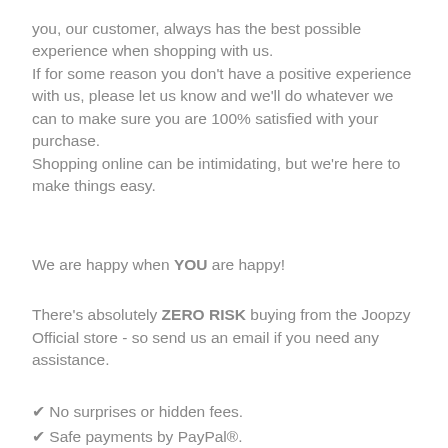you, our customer, always has the best possible experience when shopping with us.
If for some reason you don't have a positive experience with us, please let us know and we'll do whatever we can to make sure you are 100% satisfied with your purchase.
Shopping online can be intimidating, but we're here to make things easy.
We are happy when YOU are happy!
There's absolutely ZERO RISK buying from the Joopzy Official store - so send us an email if you need any assistance.
✔ No surprises or hidden fees.
✔ Safe payments by PayPal®.